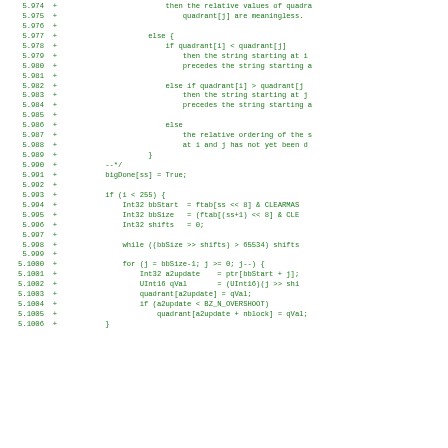[Figure (screenshot): Code diff view showing lines 5.974-5.1006 of source code in green monospace font on white background, with line numbers on left and '+' diff markers]